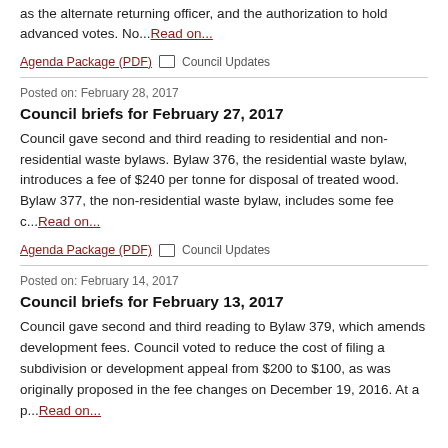as the alternate returning officer, and the authorization to hold advanced votes. No...Read on...
Agenda Package (PDF) Council Updates
Posted on: February 28, 2017
Council briefs for February 27, 2017
Council gave second and third reading to residential and non-residential waste bylaws. Bylaw 376, the residential waste bylaw, introduces a fee of $240 per tonne for disposal of treated wood. Bylaw 377, the non-residential waste bylaw, includes some fee c...Read on...
Agenda Package (PDF) Council Updates
Posted on: February 14, 2017
Council briefs for February 13, 2017
Council gave second and third reading to Bylaw 379, which amends development fees. Council voted to reduce the cost of filing a subdivision or development appeal from $200 to $100, as was originally proposed in the fee changes on December 19, 2016. At a p...Read on...